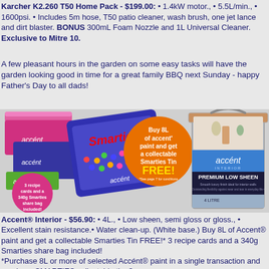Karcher K2.260 T50 Home Pack - $199.00: • 1.4kW motor., • 5.5L/min., • 1600psi. • Includes 5m hose, T50 patio cleaner, wash brush, one jet lance and dirt blaster. BONUS 300mL Foam Nozzle and 1L Universal Cleaner. Exclusive to Mitre 10.
A few pleasant hours in the garden on some easy tasks will have the garden looking good in time for a great family BBQ next Sunday - happy Father's Day to all dads!
[Figure (photo): Product image of Accent paint tins stacked with Smarties collectible tin and a promotional orange circle saying 'Buy 8L of accent paint and get a collectable Smarties Tin FREE!' alongside an Accent Interior Premium Low Sheen 4L paint tin]
Accent® Interior - $56.90: • 4L., • Low sheen, semi gloss or gloss., • Excellent stain resistance.• Water clean-up. (White base.)  Buy 8L of Accent® paint and get a collectable Smarties Tin FREE!*  3 recipe cards and a 340g Smarties share bag included!
*Purchase 8L or more of selected Accént® paint in a single transaction and receive a SMARTIES collectable tin, 3 x